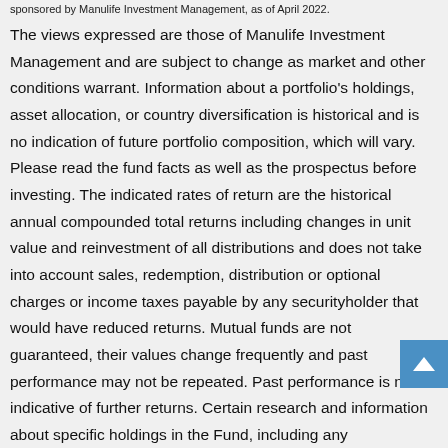sponsored by Manulife Investment Management, as of April 2022.
The views expressed are those of Manulife Investment Management and are subject to change as market and other conditions warrant. Information about a portfolio's holdings, asset allocation, or country diversification is historical and is no indication of future portfolio composition, which will vary. Please read the fund facts as well as the prospectus before investing. The indicated rates of return are the historical annual compounded total returns including changes in unit value and reinvestment of all distributions and does not take into account sales, redemption, distribution or optional charges or income taxes payable by any securityholder that would have reduced returns. Mutual funds are not guaranteed, their values change frequently and past performance may not be repeated. Past performance is not indicative of further returns. Certain research and information about specific holdings in the Fund, including any